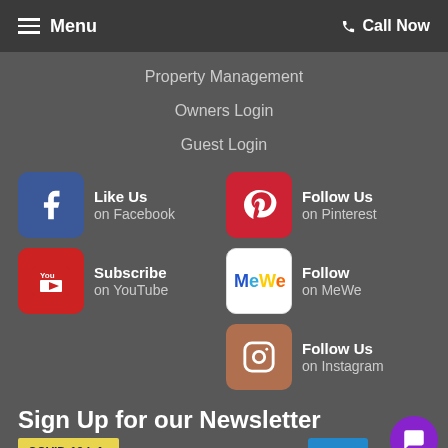Menu | Call Now
Property Management
Owners Login
Guest Login
[Figure (logo): Facebook icon - Like Us on Facebook]
[Figure (logo): Pinterest icon - Follow Us on Pinterest]
[Figure (logo): YouTube icon - Subscribe on YouTube]
[Figure (logo): MeWe icon - Follow on MeWe]
[Figure (logo): Instagram icon - Follow Us on Instagram]
Sign Up for our Newsletter
COVID-19 Info